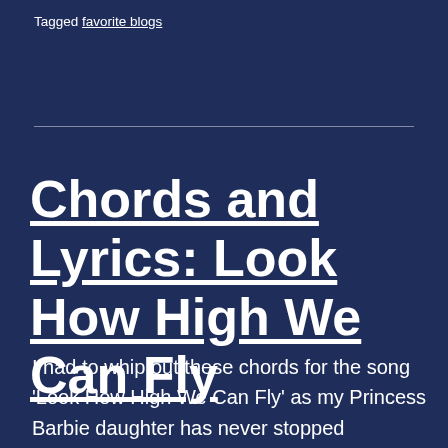Tagged favorite blogs
Chords and Lyrics: Look How High We Can Fly
I had to whip out these chords for the song 'Look How High We Can Fly' as my Princess Barbie daughter has never stopped badgering me for it, and I have run out of excuses. And I